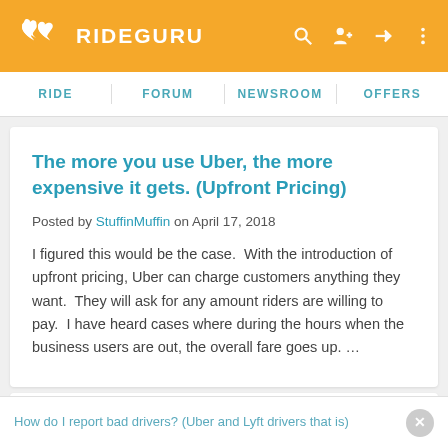RIDEGURU
RIDE  FORUM  NEWSROOM  OFFERS
The more you use Uber, the more expensive it gets. (Upfront Pricing)
Posted by StuffinMuffin on April 17, 2018
I figured this would be the case.  With the introduction of upfront pricing, Uber can charge customers anything they want.  They will ask for any amount riders are willing to pay.  I have heard cases where during the hours when the business users are out, the overall fare goes up. …
How do I report bad drivers? (Uber and Lyft drivers that is)